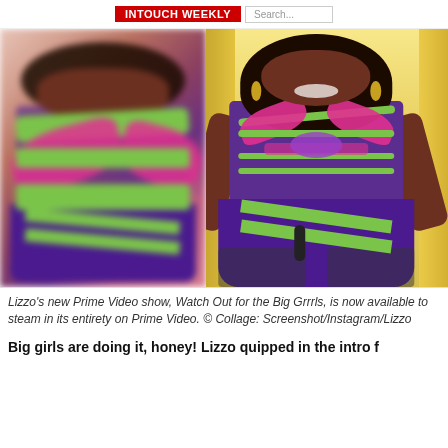[Figure (photo): Two-panel collage photo: left panel shows a blurred version of a performer in a colorful green, pink and purple costume; right panel shows Lizzo performing on stage wearing the same neon green, hot pink and purple bodysuit with butterfly/harness design, laughing and gesturing with arms out, with gold curtain backdrop]
Lizzo's new Prime Video show, Watch Out for the Big Grrrls, is now available to steam in its entirety on Prime Video. © Collage: Screenshot/Instagram/Lizzo
Big girls are doing it, honey! Lizzo quipped in the intro f